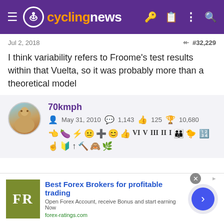cyclingnews
Jul 2, 2018  #32,229
I think variability refers to Froome's test results within that Vuelta, so it was probably more than a theoretical model
70kmph  May 31, 2010  1,143  125  10,680
Jul 2, 2018  #32,230
Deus ex machina
[Figure (infographic): Advertisement for Best Forex Brokers - forex-ratings.com]